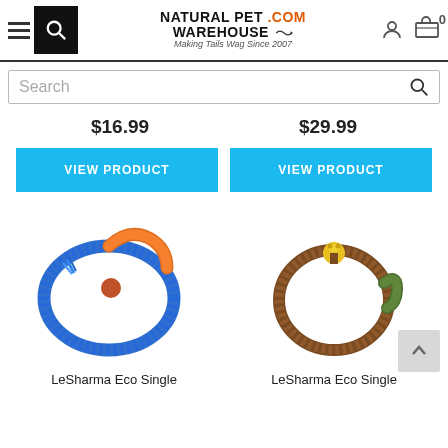Natural Pet Warehouse .com — Making Tails Wag Since 2007
Search
$16.99
$29.99
VIEW PRODUCT
VIEW PRODUCT
[Figure (photo): Blue and orange braided rope dog leash coiled up with a decorative knot]
[Figure (photo): Brown and green braided rope dog leash with a golden dog-shaped charm at the knot]
LeSharma Eco Single
LeSharma Eco Single